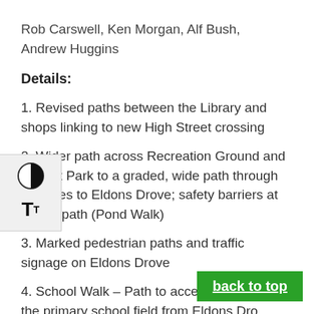Rob Carswell, Ken Morgan, Alf Bush, Andrew Huggins
Details:
1. Revised paths between the Library and shops linking to new High Street crossing
2. Wider path across Recreation Ground and Rocket Park to a graded, wide path through the trees to Eldons Drove; safety barriers at end of path (Pond Walk)
3. Marked pedestrian paths and traffic signage on Eldons Drove
4. School Walk – Path to access the rear of the primary school field from Eldons Dro...
5. Pharmacy Steps & surroundings –